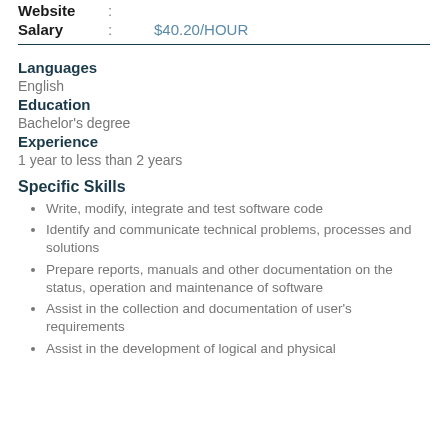Website :
Salary : $40.20/HOUR
Languages
English
Education
Bachelor's degree
Experience
1 year to less than 2 years
Specific Skills
Write, modify, integrate and test software code
Identify and communicate technical problems, processes and solutions
Prepare reports, manuals and other documentation on the status, operation and maintenance of software
Assist in the collection and documentation of user's requirements
Assist in the development of logical and physical